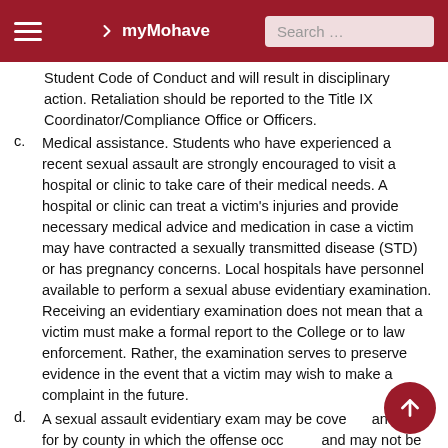myMohave  Search …
Student Code of Conduct and will result in disciplinary action. Retaliation should be reported to the Title IX Coordinator/Compliance Office or Officers.
c. Medical assistance. Students who have experienced a recent sexual assault are strongly encouraged to visit a hospital or clinic to take care of their medical needs. A hospital or clinic can treat a victim's injuries and provide necessary medical advice and medication in case a victim may have contracted a sexually transmitted disease (STD) or has pregnancy concerns. Local hospitals have personnel available to perform a sexual abuse evidentiary examination. Receiving an evidentiary examination does not mean that a victim must make a formal report to the College or to law enforcement. Rather, the examination serves to preserve evidence in the event that a victim may wish to make a complaint in the future.
d. A sexual assault evidentiary exam may be covered and paid for by county in which the offense occurred and may not be submitted for insurance purposes.